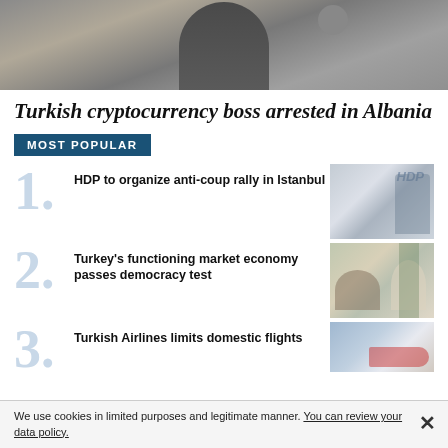[Figure (photo): Hero image showing a person in a dark suit, partially cropped, in an office or indoor setting]
Turkish cryptocurrency boss arrested in Albania
MOST POPULAR
1. HDP to organize anti-coup rally in Istanbul
[Figure (photo): Photo of an HDP official at a press event with an HDP banner]
2. Turkey's functioning market economy passes democracy test
[Figure (photo): Photo of two people in conversation, seated, possibly an interview setting with a plant in the background]
3. Turkish Airlines limits domestic flights
[Figure (photo): Photo showing what appears to be an airplane or aviation-related scene]
We use cookies in limited purposes and legitimate manner. You can review your data policy.